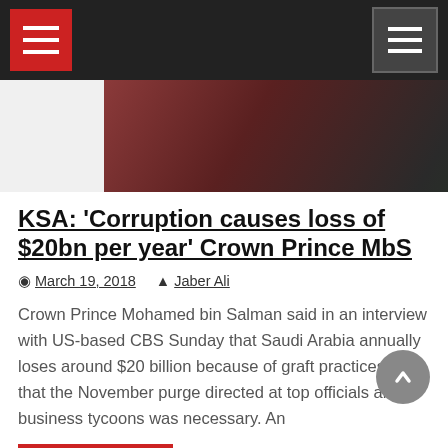Navigation header with hamburger menus
[Figure (photo): Photo of Crown Prince Mohamed bin Salman, with a '60 Minutes' badge in the top right corner. The image shows a man in traditional Saudi attire against a green background.]
KSA: ‘Corruption causes loss of $20bn per year’ Crown Prince MbS
March 19, 2018   Jaber Ali
Crown Prince Mohamed bin Salman said in an interview with US-based CBS Sunday that Saudi Arabia annually loses around $20 billion because of graft practices and that the November purge directed at top officials and business tycoons was necessary. An
READ MORE
Gulf News, Headlines, World News
CBS, Crown Prince MBS, KSA, purge campaign,